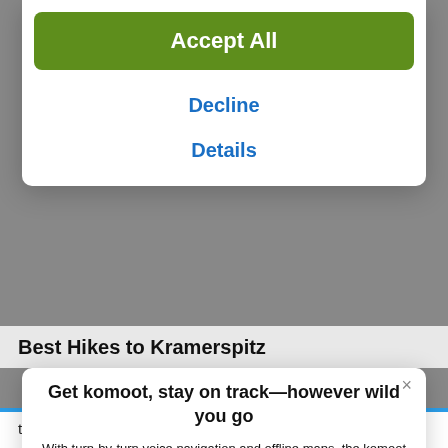[Figure (screenshot): Green 'Accept All' button at top of cookie consent modal overlay]
Decline
Details
Best Hikes to Kramerspitz
Get komoot, stay on track—however wild you go
With turn-by-turn voice navigation and offline maps, the komoot app will always keep your adventure on track, even when the internet's down or unreliable.
[Figure (other): Download on the App Store button (black rounded rectangle with Apple logo)]
thousands of activities completed by other